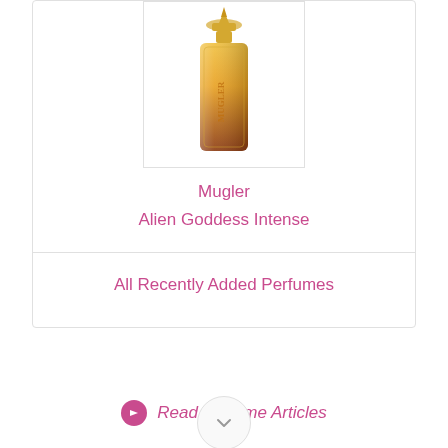[Figure (photo): Mugler Alien Goddess Intense perfume bottle - tall golden/amber bottle with decorative cap]
Mugler
Alien Goddess Intense
All Recently Added Perfumes
Read Perfume Articles